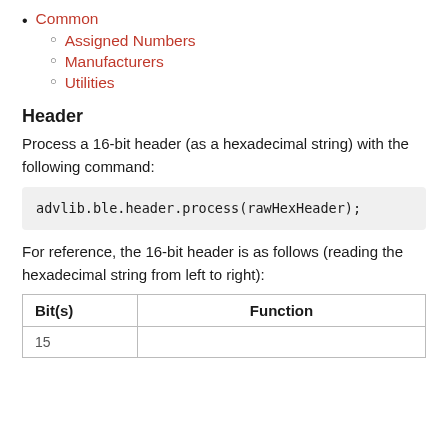Common
Assigned Numbers
Manufacturers
Utilities
Header
Process a 16-bit header (as a hexadecimal string) with the following command:
advlib.ble.header.process(rawHexHeader);
For reference, the 16-bit header is as follows (reading the hexadecimal string from left to right):
| Bit(s) | Function |
| --- | --- |
| 15 | ... |